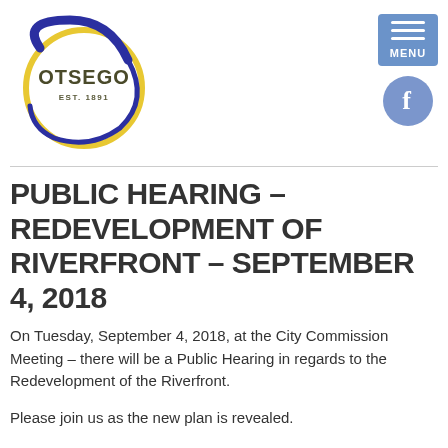[Figure (logo): Otsego city logo — circular design with blue and yellow swirl, text OTSEGO EST. 1891 inside]
[Figure (other): Navigation menu button (hamburger icon) labeled MENU on blue-gray background]
[Figure (other): Facebook icon button — circular blue-gray with white f]
PUBLIC HEARING – REDEVELOPMENT OF RIVERFRONT – SEPTEMBER 4, 2018
On Tuesday, September 4, 2018, at the City Commission Meeting – there will be a Public Hearing in regards to the Redevelopment of the Riverfront.
Please join us as the new plan is revealed.